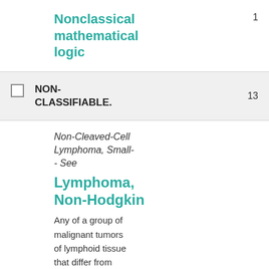Nonclassical mathematical logic
1
NON-CLASSIFIABLE.
13
Non-Cleaved-Cell Lymphoma, Small-- See
Lymphoma, Non-Hodgkin
Any of a group of malignant tumors of lymphoid tissue that differ from HODGKIN DISEASE,